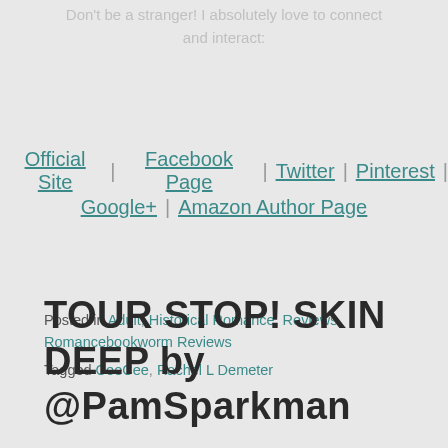Don't be a stranger! I absolutely love to connect and interact:
Official Site | Facebook Page | Twitter | Pinterest | Google+ | Amazon Author Page
Posted in Adult, Historical Romance, Reviews, Romancebookworm Reviews
Tagged CeeCee, Rachel L Demeter
TOUR STOP! SKIN DEEP by @PamSparkman